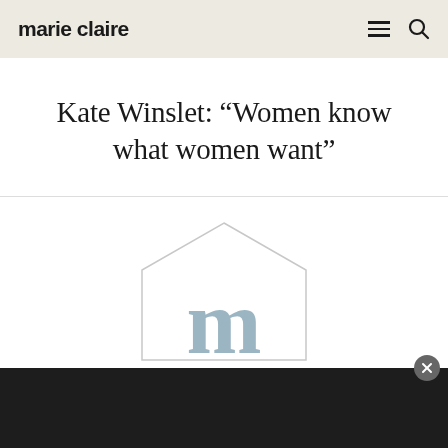marie claire
Kate Winslet: “Women know what women want”
[Figure (logo): Marie Claire placeholder image with hexagonal house outline and lowercase 'm' letter in steel blue color against white background]
[Figure (other): Dark advertisement banner bar at the bottom of the page with a close/dismiss button]